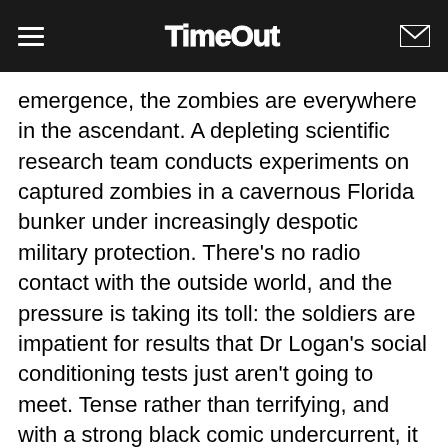Time Out
emergence, the zombies are everywhere in the ascendant. A depleting scientific research team conducts experiments on captured zombies in a cavernous Florida bunker under increasingly despotic military protection. There's no radio contact with the outside world, and the pressure is taking its toll: the soldiers are impatient for results that Dr Logan's social conditioning tests just aren't going to meet. Tense rather than terrifying, and with a strong black comic undercurrent, it rests on the mordant observation that zombies or no zombies, chances are the living will tear each other apart. A fitting conclusion to a remarkably astute series, a landmark in the horror genre.
Written by TCh Monday 10 September 2012